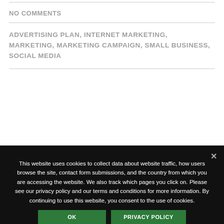NO COMMENTS
ADVERTISING PLAN, INTERNET MARKETING, MARKETING, MARKETING CAMPAIGN, SMALL BUSINESS, SOCIAL MEDIA
This website uses cookies to collect data about website traffic, how users browse the site, contact form submissions, and the country from which you are accessing the website. We also track which pages you click on. Please see our privacy policy and our terms and conditions for more information. By continuing to use this website, you consent to the use of cookies.
OK
PRIVACY POLICY